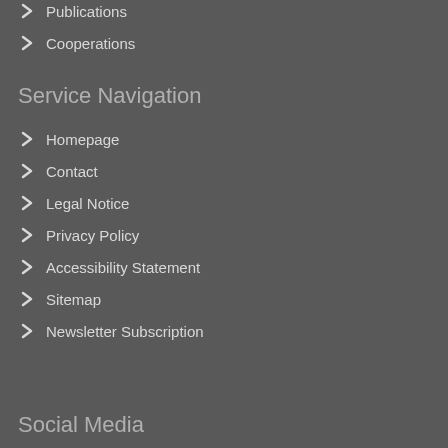Publications
Cooperations
Service Navigation
Homepage
Contact
Legal Notice
Privacy Policy
Accessibility Statement
Sitemap
Newsletter Subscription
Social Media